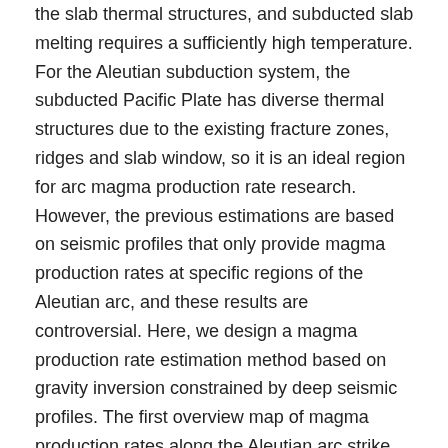the slab thermal structures, and subducted slab melting requires a sufficiently high temperature. For the Aleutian subduction system, the subducted Pacific Plate has diverse thermal structures due to the existing fracture zones, ridges and slab window, so it is an ideal region for arc magma production rate research. However, the previous estimations are based on seismic profiles that only provide magma production rates at specific regions of the Aleutian arc, and these results are controversial. Here, we design a magma production rate estimation method based on gravity inversion constrained by deep seismic profiles. The first overview map of magma production rates along the Aleutian arc strike demonstrates that the magma production rates have the same trend as the slab dips, and the peaks correspond to the subduction of the fracture zones and ridges. The potential mechanisms for these correlations are as follows: (1) Slab water flux at subarc depths increases with increasing slab dip. More fluid flux would induce more